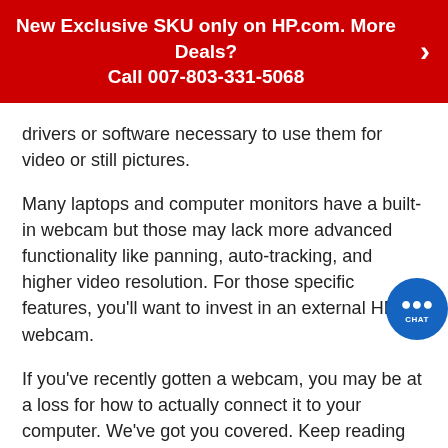New Exclusive SKU only on HP.com. More Deals? Call 007-803-331-5068
drivers or software necessary to use them for video or still pictures.
Many laptops and computer monitors have a built-in webcam but those may lack more advanced functionality like panning, auto-tracking, and higher video resolution. For those specific features, you'll want to invest in an external HD webcam.
If you've recently gotten a webcam, you may be at a loss for how to actually connect it to your computer. We've got you covered. Keep reading for a comprehensive guide to connecting your HD webcam to your computer. But first, let's look at your webcam options.